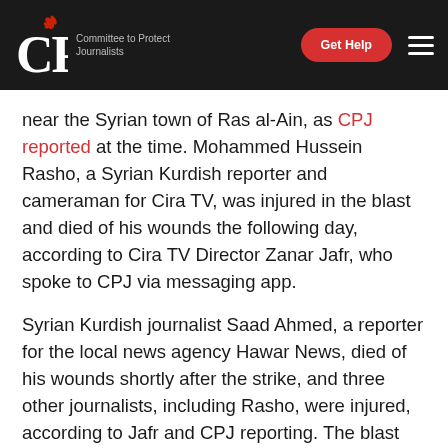CPJ – Committee to Protect Journalists
near the Syrian town of Ras al-Ain, as CPJ reported at the time. Mohammed Hussein Rasho, a Syrian Kurdish reporter and cameraman for Cira TV, was injured in the blast and died of his wounds the following day, according to Cira TV Director Zanar Jafr, who spoke to CPJ via messaging app.
Syrian Kurdish journalist Saad Ahmed, a reporter for the local news agency Hawar News, died of his wounds shortly after the strike, and three other journalists, including Rasho, were injured, according to Jafr and CPJ reporting. The blast killed 15 civilians, including the two journalists, according to